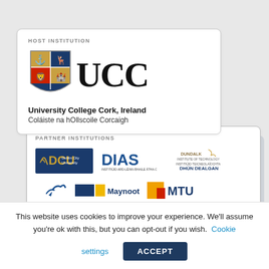[Figure (logo): UCC (University College Cork, Ireland) host institution card with shield logo and large UCC text]
HOST INSTITUTION
[Figure (logo): Partner institutions card showing DCU, DIAS, Dundalk Institute of Technology logos and partial logos for other institutions including Maynooth and MTU]
PARTNER INSTITUTIONS
This website uses cookies to improve your experience. We'll assume you're ok with this, but you can opt-out if you wish. Cookie settings ACCEPT